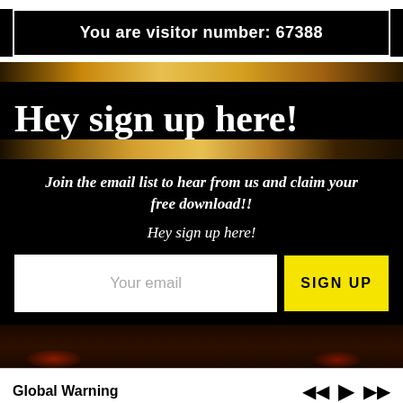You are visitor number: 67388
Hey sign up here!
Join the email list to hear from us and claim your free download!!
Hey sign up here!
Your email
SIGN UP
Global Warning